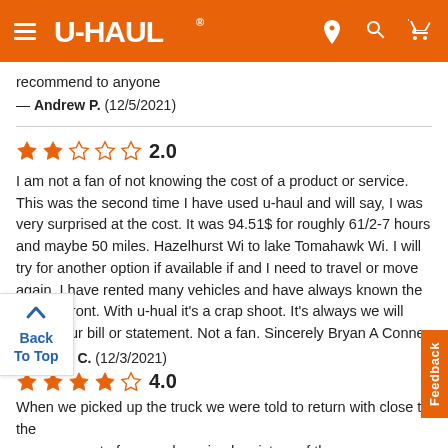[Figure (screenshot): U-Haul website header with orange background, hamburger menu, U-Haul logo, and location/search/cart icons in white]
recommend to anyone
— Andrew P.  (12/5/2021)
2.0
I am not a fan of not knowing the cost of a product or service. This was the second time I have used u-haul and will say, I was very surprised at the cost. It was 94.51$ for roughly 61/2-7 hours and maybe 50 miles. Hazelhurst Wi to lake Tomahawk Wi. I will try for another option if available if and I need to travel or move again. I have rented many vehicles and have always known the cost up front. With u-hual it's a crap shoot. It's always we will email your bill or statement. Not a fan. Sincerely Bryan A Conner
— Bryan C.  (12/3/2021)
4.0
When we picked up the truck we were told to return with close to the same amount of gas and received a picture of the gas gauge. We